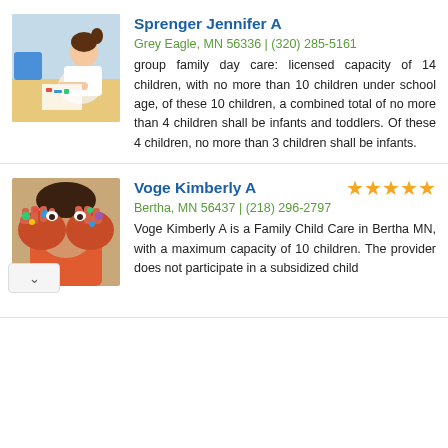[Figure (photo): Photo of children doing arts and crafts at a table, one girl in focus drawing]
Sprenger Jennifer A
Grey Eagle, MN 56336 | (320) 285-5161
group family day care: licensed capacity of 14 children, with no more than 10 children under school age, of these 10 children, a combined total of no more than 4 children shall be infants and toddlers. Of these 4 children, no more than 3 children shall be infants.
[Figure (photo): Photo of a child with colorful painted hands covering their face, smiling]
Voge Kimberly A
Bertha, MN 56437 | (218) 296-2797
Voge Kimberly A is a Family Child Care in Bertha MN, with a maximum capacity of 10 children. The provider does not participate in a subsidized child